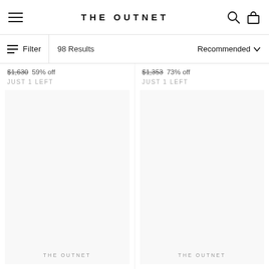THE OUTNET
Filter  98 Results  Recommended
$1,630  59% off  JUST 1 LEFT
$1,353  73% off  JUST 1 LEFT
THE OUTNET
THE OUTNET